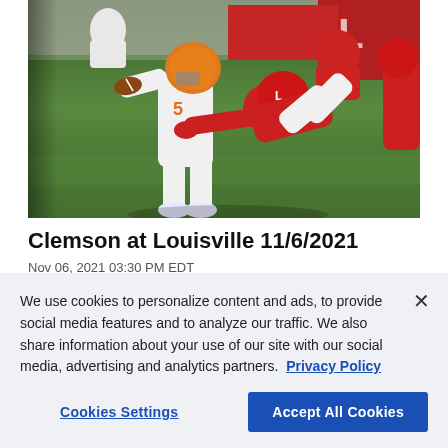[Figure (photo): Football game action photo showing a Clemson quarterback in white #5 jersey being tackled by a Louisville defender in red uniform on a green field]
Clemson at Louisville 11/6/2021
Nov 06, 2021 03:30 PM EDT
We use cookies to personalize content and ads, to provide social media features and to analyze our traffic. We also share information about your use of our site with our social media, advertising and analytics partners.  Privacy Policy
Cookies Settings | Accept All Cookies